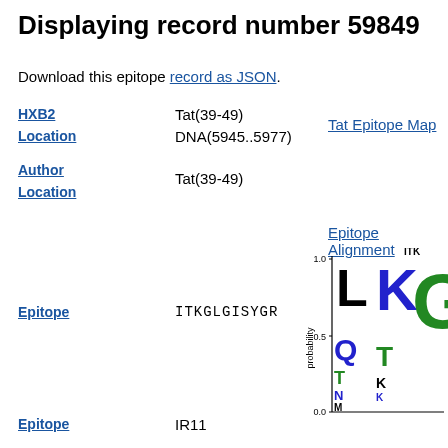Displaying record number 59849
Download this epitope record as JSON.
HXB2
Tat(39-49)
Location
DNA(5945..5977)
Tat Epitope Map
Author Location
Tat(39-49)
Epitope Alignment
Epitope
ITKGLGISYGR
[Figure (other): Sequence logo showing probability of amino acids at each position. Y-axis labeled 'probability' from 0.0 to 1.0. Shows letters L, K, K, G in blue/black/green at top positions.]
Epitope
IR11